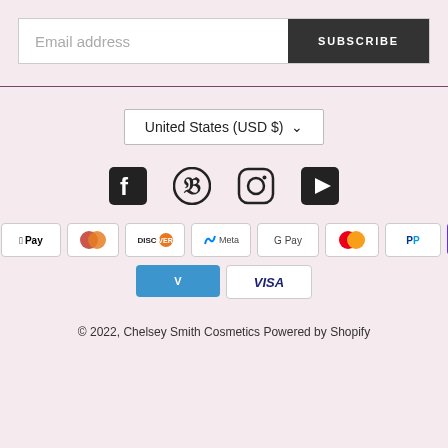Email address | SUBSCRIBE
United States (USD $)
[Figure (infographic): Social media icons: Facebook, Pinterest, Instagram, YouTube]
[Figure (infographic): Payment method icons: American Express, Apple Pay, Diners Club, Discover, Meta Pay, Google Pay, Mastercard, PayPal, Shop Pay, Venmo, Visa]
© 2022, Chelsey Smith Cosmetics Powered by Shopify